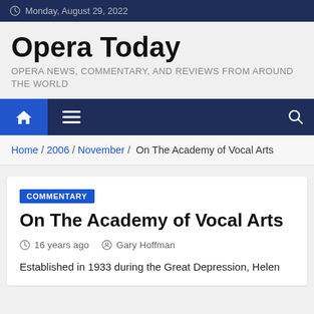Monday, August 29, 2022
Opera Today
OPERA NEWS, COMMENTARY, AND REVIEWS FROM AROUND THE WORLD
[Figure (infographic): Navigation bar with home icon, menu icon, and search icon on dark blue background]
Home / 2006 / November / On The Academy of Vocal Arts
COMMENTARY
On The Academy of Vocal Arts
16 years ago   Gary Hoffman
Established in 1933 during the Great Depression, Helen